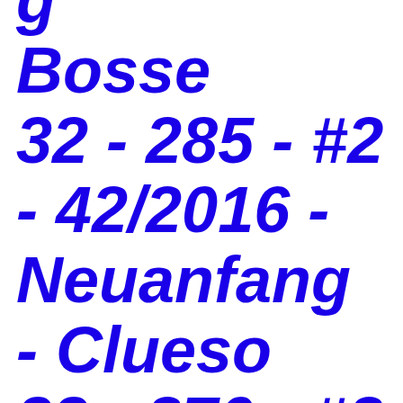g Bosse 32 - 285 - #2 - 42/2016 - Neuanfang - Clueso 33 - 270 - #2